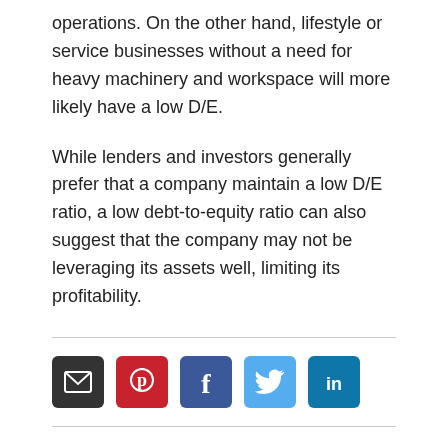operations. On the other hand, lifestyle or service businesses without a need for heavy machinery and workspace will more likely have a low D/E.
While lenders and investors generally prefer that a company maintain a low D/E ratio, a low debt-to-equity ratio can also suggest that the company may not be leveraging its assets well, limiting its profitability.
[Figure (infographic): Social sharing icons: email (dark/black), Pinterest (red), Facebook (dark blue), Twitter (light blue), LinkedIn (blue)]